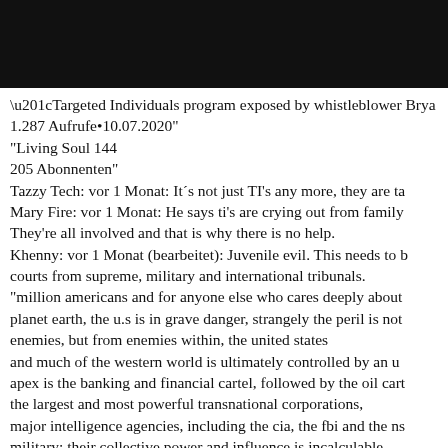[Figure (photo): Black bar at top of page, appears to be a cropped image header]
“Targeted Individuals program exposed by whistleblower Brya 1.287 Aufrufe•10.07.2020”
“Living Soul 144
205 Abonnenten”
Tazzy Tech: vor 1 Monat: It´s not just TI’s any more, they are ta
Mary Fire: vor 1 Monat: He says ti’s are crying out from family
They’re all involved and that is why there is no help.
Khenny: vor 1 Monat (bearbeitet): Juvenile evil. This needs to b courts from supreme, military and international tribunals.
“million americans and for anyone else who cares deeply about planet earth, the u.s is in grave danger, strangely the peril is not enemies, but from enemies within, the united states and much of the western world is ultimately controlled by an u apex is the banking and financial cartel, followed by the oil cart the largest and most powerful transnational corporations, major intelligence agencies, including the cia, the fbi and the ns military; their collective power and influence is incalculable